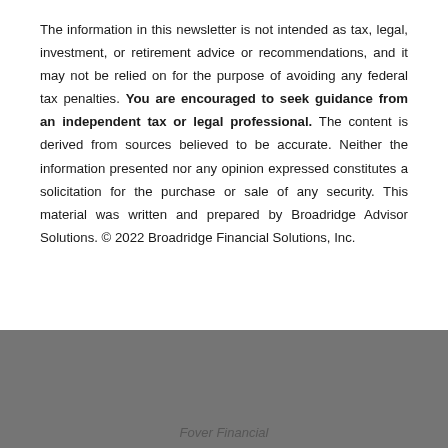The information in this newsletter is not intended as tax, legal, investment, or retirement advice or recommendations, and it may not be relied on for the purpose of avoiding any federal tax penalties. You are encouraged to seek guidance from an independent tax or legal professional. The content is derived from sources believed to be accurate. Neither the information presented nor any opinion expressed constitutes a solicitation for the purchase or sale of any security. This material was written and prepared by Broadridge Advisor Solutions. © 2022 Broadridge Financial Solutions, Inc.
Fover Financial